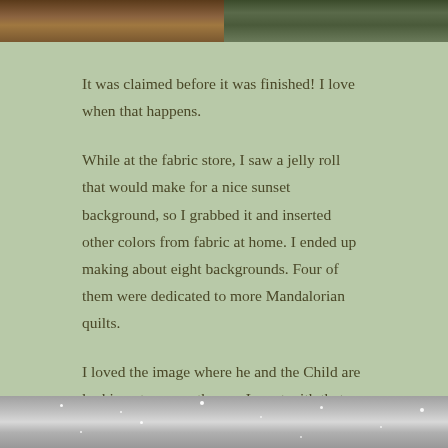[Figure (photo): Two photos side by side at the top of the page: left shows a wooden surface or furniture piece, right shows an outdoor scene with vertical structures.]
It was claimed before it was finished! I love when that happens.
While at the fabric store, I saw a jelly roll that would make for a nice sunset background, so I grabbed it and inserted other colors from fabric at home. I ended up making about eight backgrounds. Four of them were dedicated to more Mandalorian quilts.
I loved the image where he and the Child are looking at one another, so I went with that one. I tried to give the background quilting pattern a “heat wave” effect. I’ve finished one, and it’ll be delivered today. I have the tops of the other three ready to be quilted.
[Figure (photo): A sparkly or glittery grey/silver fabric or material shown at the bottom of the page.]